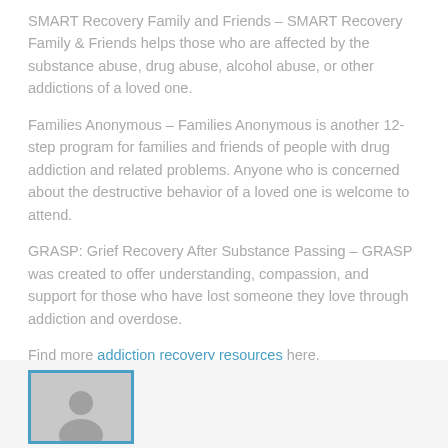SMART Recovery Family and Friends – SMART Recovery Family & Friends helps those who are affected by the substance abuse, drug abuse, alcohol abuse, or other addictions of a loved one.
Families Anonymous – Families Anonymous is another 12-step program for families and friends of people with drug addiction and related problems. Anyone who is concerned about the destructive behavior of a loved one is welcome to attend.
GRASP: Grief Recovery After Substance Passing – GRASP was created to offer understanding, compassion, and support for those who have lost someone they love through addiction and overdose.
Find more addiction recovery resources here.
[Figure (photo): Partial view of a profile/avatar image with a blue border and grey silhouette, partially cut off at bottom of page]